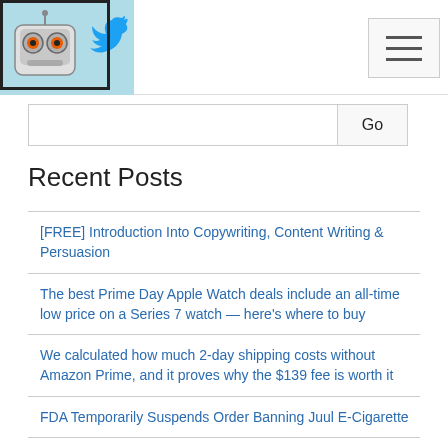[Figure (logo): Robot logo with Twitter bird icon in a light blue header area with border]
Recent Posts
[FREE] Introduction Into Copywriting, Content Writing & Persuasion
The best Prime Day Apple Watch deals include an all-time low price on a Series 7 watch — here's where to buy
We calculated how much 2-day shipping costs without Amazon Prime, and it proves why the $139 fee is worth it
FDA Temporarily Suspends Order Banning Juul E-Cigarette
Read this: Why RadioShack's Twitter account is so very horny